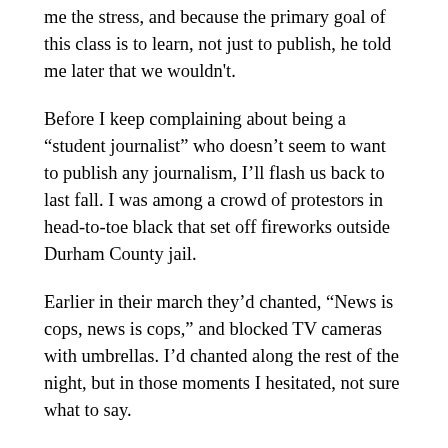me the stress, and because the primary goal of this class is to learn, not just to publish, he told me later that we wouldn't.
Before I keep complaining about being a “student journalist” who doesn’t seem to want to publish any journalism, I’ll flash us back to last fall. I was among a crowd of protestors in head-to-toe black that set off fireworks outside Durham County jail.
Earlier in their march they’d chanted, “News is cops, news is cops,” and blocked TV cameras with umbrellas. I’d chanted along the rest of the night, but in those moments I hesitated, not sure what to say.
I was in a news writing class at the time and thought I wanted to become an audio journalist.
Four days later I was back in journalism class and still